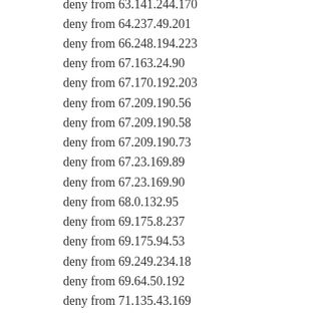deny from 63.141.244.170
deny from 64.237.49.201
deny from 66.248.194.223
deny from 67.163.24.90
deny from 67.170.192.203
deny from 67.209.190.56
deny from 67.209.190.58
deny from 67.209.190.73
deny from 67.23.169.89
deny from 67.23.169.90
deny from 68.0.132.95
deny from 69.175.8.237
deny from 69.175.94.53
deny from 69.249.234.18
deny from 69.64.50.192
deny from 71.135.43.169
deny from 71.20.96.246
deny from 72.10.169.212
deny from 74.129.141.27